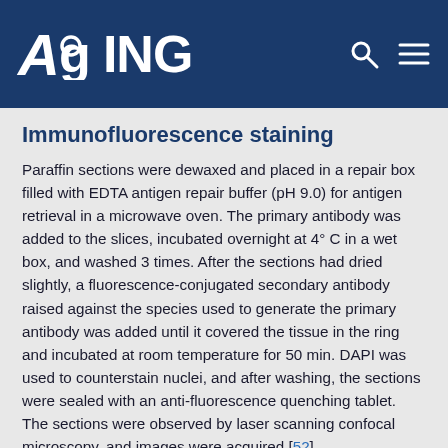AGING
Immunofluorescence staining
Paraffin sections were dewaxed and placed in a repair box filled with EDTA antigen repair buffer (pH 9.0) for antigen retrieval in a microwave oven. The primary antibody was added to the slices, incubated overnight at 4° C in a wet box, and washed 3 times. After the sections had dried slightly, a fluorescence-conjugated secondary antibody raised against the species used to generate the primary antibody was added until it covered the tissue in the ring and incubated at room temperature for 50 min. DAPI was used to counterstain nuclei, and after washing, the sections were sealed with an anti-fluorescence quenching tablet. The sections were observed by laser scanning confocal microscopy, and images were acquired [52].
Statistical analyses